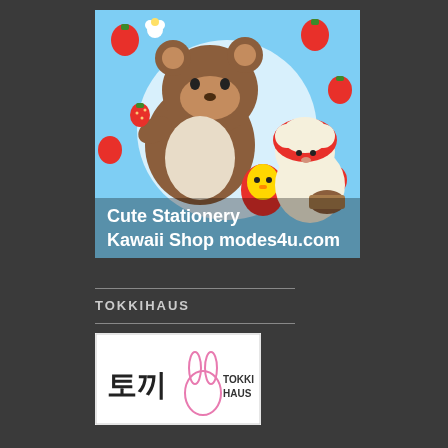[Figure (illustration): Kawaii/cute Japanese stationery image featuring Rilakkuma bear characters with strawberries on a light blue background. Text overlay reads 'Cute Stationery Kawaii Shop modes4u.com']
TOKKIHAUS
[Figure (logo): Tokkihaus logo showing a rabbit silhouette with Japanese characters and 'TOKKI HAUS' text on white background]